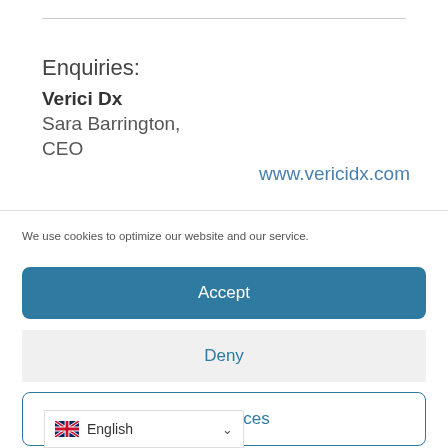Enquiries:
Verici Dx
Sara Barrington, CEO
www.vericidx.com
We use cookies to optimize our website and our service.
Accept
Deny
Preferences
English